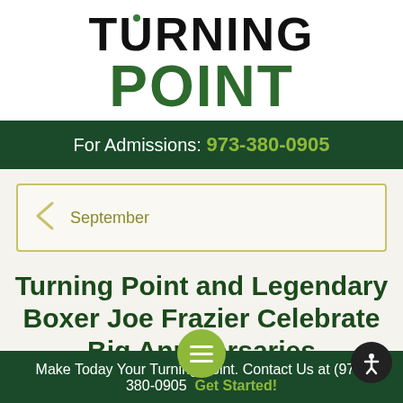TURNING POINT
For Admissions: 973-380-0905
September
Turning Point and Legendary Boxer Joe Frazier Celebrate Big Anniversaries
Make Today Your Turning Point. Contact Us at (973) 380-0905 Get Started!